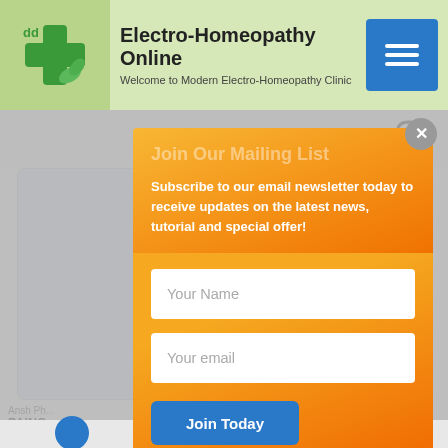Electro-Homeopathy Online — Welcome to Modern Electro-Homeopathy Clinic
Cart / ₹0.00  0
Ansh Ph... PAINGO... ₹105.00  Add
Join Our Mailing List
Subscribe to our email newsletter today to receive updates on the latest news, tutorial and special offer!
Your Name
Your email
Join Today